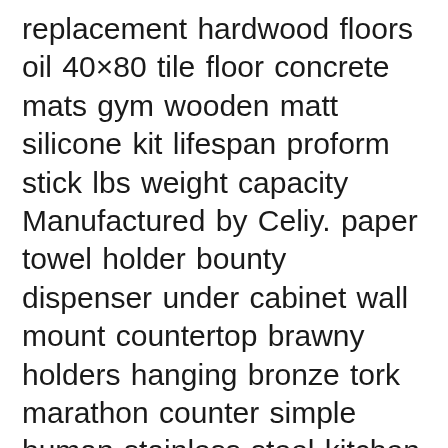replacement hardwood floors oil 40×80 tile floor concrete mats gym wooden matt silicone kit lifespan proform stick lbs weight capacity Manufactured by Celiy. paper towel holder bounty dispenser under cabinet wall mount countertop brawny holders hanging bronze tork marathon counter simple human stainless steel kitchen wood rack marble black stand automatic farmhouse commercial shelf copper mounted adhesive command bathroom gold keys multifold rustic plastic red fold brushed the standing white oil rubbed woman outdoor rooster self hanger tubes acrylic tissue paper box